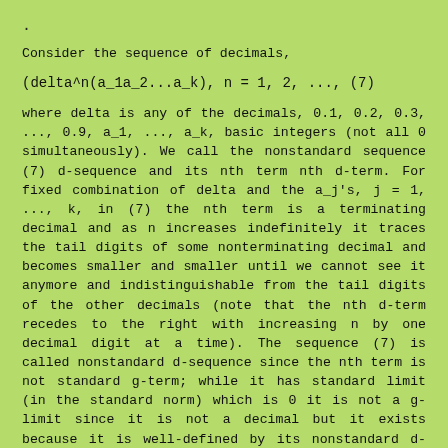.
Consider the sequence of decimals,
where delta is any of the decimals, 0.1, 0.2, 0.3, ..., 0.9, a_1, ..., a_k, basic integers (not all 0 simultaneously). We call the nonstandard sequence (7) d-sequence and its nth term nth d-term. For fixed combination of delta and the a_j's, j = 1, ..., k, in (7) the nth term is a terminating decimal and as n increases indefinitely it traces the tail digits of some nonterminating decimal and becomes smaller and smaller until we cannot see it anymore and indistinguishable from the tail digits of the other decimals (note that the nth d-term recedes to the right with increasing n by one decimal digit at a time). The sequence (7) is called nonstandard d-sequence since the nth term is not standard g-term; while it has standard limit (in the standard norm) which is 0 it is not a g-limit since it is not a decimal but it exists because it is well-defined by its nonstandard d-sequence. We call its nonstandard g-limit